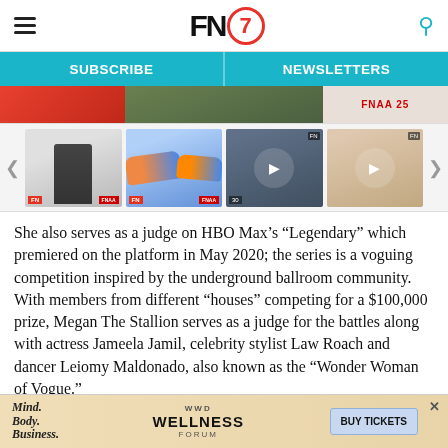FN7 — Footwear News header with hamburger menu and search icon
SUBSCRIBE | NEWSLETTERS
[Figure (screenshot): Carousel thumbnail strip with person in patterned suit, colorful sneakers, video thumbnails of interviews]
She also serves as a judge on HBO Max's “Legendary” which premiered on the platform in May 2020; the series is a voguing competition inspired by the underground ballroom community. With members from different “houses” competing for a $100,000 prize, Megan The Stallion serves as a judge for the battles along with actress Jameela Jamil, celebrity stylist Law Roach and dancer Leiomy Maldonado, also known as the “Wonder Woman of Vogue.”
[Figure (infographic): WWD Wellness Forum advertisement banner: Mind. Body. Business. — BUY TICKETS]